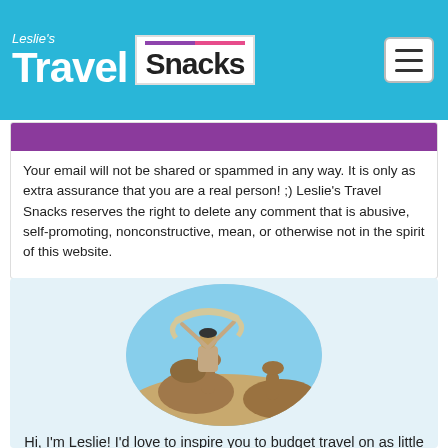Leslie's Travel Snacks
[Figure (illustration): Purple banner bar at top of comment policy card]
Your email will not be shared or spammed in any way. It is only as extra assurance that you are a real person! ;) Leslie's Travel Snacks reserves the right to delete any comment that is abusive, self-promoting, nonconstructive, mean, or otherwise not in the spirit of this website.
[Figure (photo): Woman sitting on a camel in a desert landscape, raising a scarf above her head with both arms, smiling. Image is in an oval crop. Blue sky and sand dunes in background, another camel visible to the right.]
Hi, I'm Leslie! I'd love to inspire you to budget travel on as little as $30/day, lend a few travel